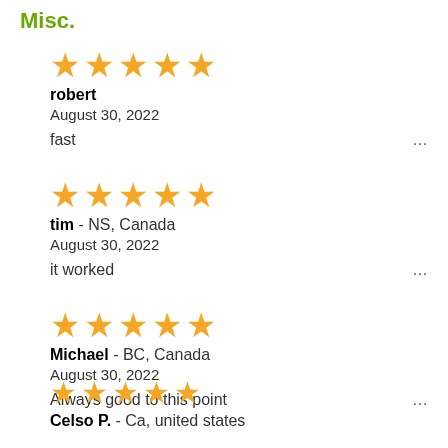Misc.
robert | August 30, 2022 | fast | 5 stars
tim - NS, Canada | August 30, 2022 | it worked | 5 stars
Michael - BC, Canada | August 30, 2022 | Always good to this point | 5 stars
Celso P. - Ca, united states | 5 stars